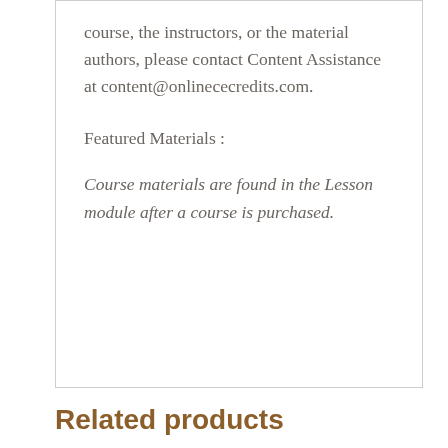course, the instructors, or the material authors, please contact Content Assistance at content@onlinececredits.com.
Featured Materials :
Course materials are found in the Lesson module after a course is purchased.
Related products